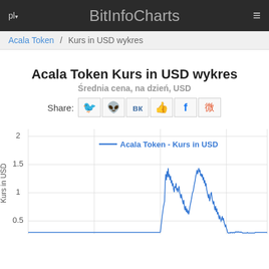pl  BitInfoCharts  ≡
Acala Token / Kurs in USD wykres
Acala Token Kurs in USD wykres
Średnia cena, na dzień, USD
Share:
[Figure (continuous-plot): Line chart showing Acala Token price in USD over time. The line is flat near zero for a long period, then spikes up to nearly 2 USD, fluctuates between 1-2 USD, reaches a second peak around 1.75 USD, then declines sharply to around 0.3-0.4 USD by the end of the visible period. Y-axis labels: 0.5, 1, 1.5, 2. Legend: Acala Token - Kurs in USD (blue line). Y-axis label: Kurs in USD.]